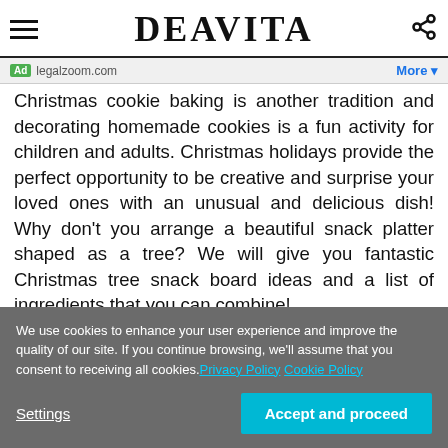DEAVITA
Ad legalzoom.com More
Christmas cookie baking is another tradition and decorating homemade cookies is a fun activity for children and adults. Christmas holidays provide the perfect opportunity to be creative and surprise your loved ones with an unusual and delicious dish! Why don't you arrange a beautiful snack platter shaped as a tree? We will give you fantastic Christmas tree snack board ideas and a list of ingredients that you can combine!
We use cookies to enhance your user experience and improve the quality of our site. If you continue browsing, we'll assume that you consent to receiving all cookies. Privacy Policy Cookie Policy
Settings
Accept and proceed